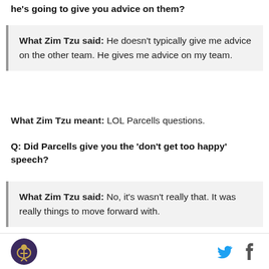he's going to give you advice on them?
What Zim Tzu said: He doesn't typically give me advice on the other team. He gives me advice on my team.
What Zim Tzu meant: LOL Parcells questions.
Q: Did Parcells give you the 'don't get too happy' speech?
What Zim Tzu said: No, it's wasn't really that. It was really things to move forward with.
What Zim Tzu meant: FUCK OUTTA HERE WITH